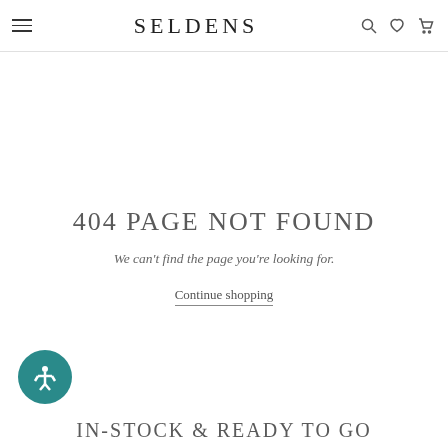SELDENS
404 PAGE NOT FOUND
We can't find the page you're looking for.
Continue shopping
IN-STOCK & READY TO GO